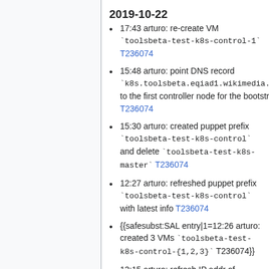2019-10-22
17:43 arturo: re-create VM `toolsbeta-test-k8s-control-1` T236074
15:48 arturo: point DNS record `k8s.toolsbeta.eqiad1.wikimedia.cloud` to the first controller node for the bootstrap T236074
15:30 arturo: created puppet prefix `toolsbeta-test-k8s-control` and delete `toolsbeta-test-k8s-master` T236074
12:27 arturo: refreshed puppet prefix `toolsbeta-test-k8s-control` with latest info T236074
{{safesubst:SAL entry|1=12:26 arturo: created 3 VMs `toolsbeta-test-k8s-control-{1,2,3}` T236074}}
12:15 arturo: refresh IP addr of